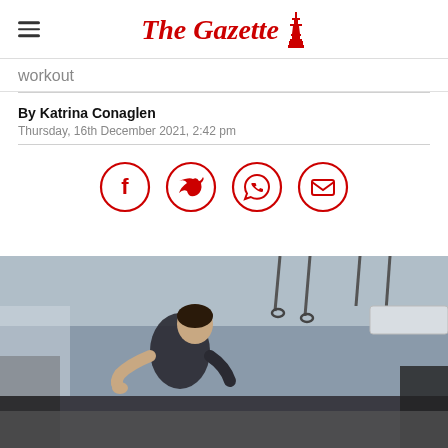The Gazette
workout
By Katrina Conaglen
Thursday, 16th December 2021, 2:42 pm
[Figure (infographic): Four red circular social share icons: Facebook, Twitter, WhatsApp, Email]
[Figure (photo): A man in a gym doing a workout, gym rings and equipment visible in background]